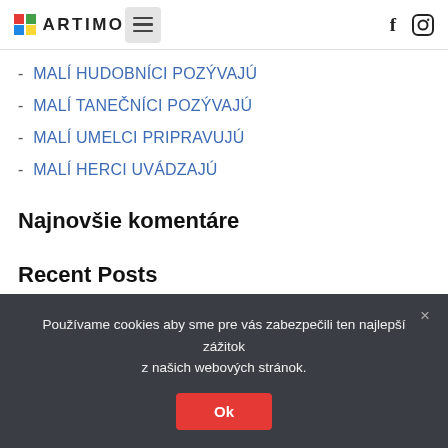ARTIMO navigation header with logo, hamburger menu, Facebook and Instagram icons
MALÍ HUDOBNÍCI POZÝVAJÚ
MALÍ TANEČNÍCI POZÝVAJÚ
MALÍ UMELCI PRIPRAVUJÚ
MALÍ HERCI UVÁDZAJÚ
Najnovšie komentáre
Recent Posts
Používame cookies aby sme pre vás zabezpečili ten najlepší zážitok z našich webových stránok.